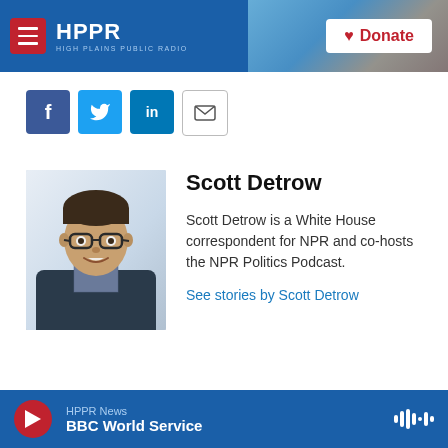HPPR - HIGH PLAINS PUBLIC RADIO | Donate
[Figure (logo): HPPR High Plains Public Radio logo with hamburger menu on blue header bar with Donate button]
[Figure (infographic): Social media share buttons: Facebook, Twitter, LinkedIn, Email]
[Figure (photo): Headshot of Scott Detrow, a man with glasses wearing a suit]
Scott Detrow
Scott Detrow is a White House correspondent for NPR and co-hosts the NPR Politics Podcast.
See stories by Scott Detrow
HPPR News | BBC World Service